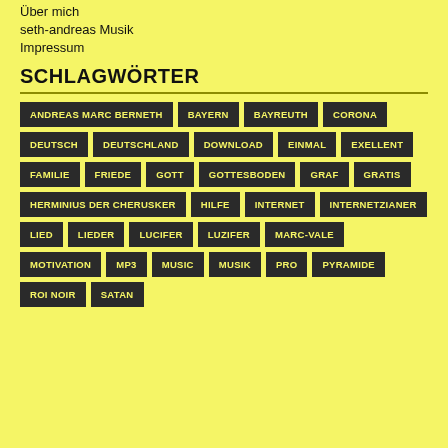Über mich
seth-andreas Musik
Impressum
SCHLAGWÖRTER
ANDREAS MARC BERNETH BAYERN BAYREUTH CORONA DEUTSCH DEUTSCHLAND DOWNLOAD EINMAL EXELLENT FAMILIE FRIEDE GOTT GOTTESBODEN GRAF GRATIS HERMINIUS DER CHERUSKER HILFE INTERNET INTERNETZIANER LIED LIEDER LUCIFER LUZIFER MARC-VALE MOTIVATION MP3 MUSIC MUSIK PRO PYRAMIDE ROI NOIR SATAN